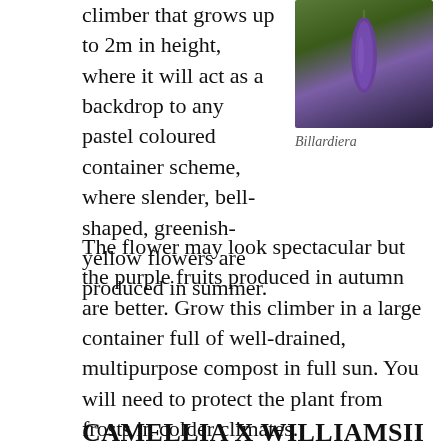climber that grows up to 2m in height, where it will act as a backdrop to any pastel coloured container scheme, where slender, bell-shaped, greenish-yellow flowers are produced in summer.
[Figure (photo): Close-up photo of a purple Billardiera fruit hanging against a green background]
Billardiera
The flower may look spectacular but the purple fruits produced in autumn are better. Grow this climber in a large container full of well-drained, multipurpose compost in full sun. You will need to protect the plant from frosts in colder climates.
CAMELLIA X WILLIAMSII